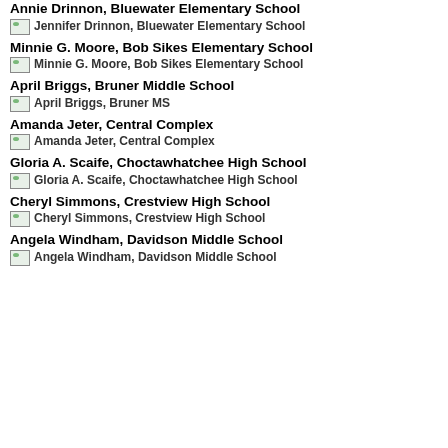Annie Drinnon, Bluewater Elementary School
[Figure (photo): Jennifer Drinnon, Bluewater Elementary School]
Minnie G. Moore, Bob Sikes Elementary School
[Figure (photo): Minnie G. Moore, Bob Sikes Elementary School]
April Briggs, Bruner Middle School
[Figure (photo): April Briggs, Bruner MS]
Amanda Jeter, Central Complex
[Figure (photo): Amanda Jeter, Central Complex]
Gloria A. Scaife, Choctawhatchee High School
[Figure (photo): Gloria A. Scaife, Choctawhatchee High School]
Cheryl Simmons, Crestview High School
[Figure (photo): Cheryl Simmons, Crestview High School]
Angela Windham, Davidson Middle School
[Figure (photo): Angela Windham, Davidson Middle School]